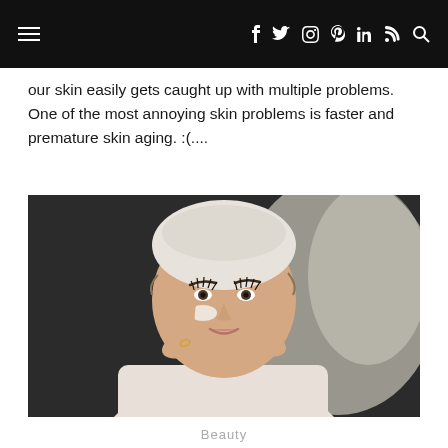☰  f  𝕏  ◎  ⊕  in  ⌇  🔍
our skin easily gets caught up with multiple problems. One of the most annoying skin problems is faster and premature skin aging. :(...
[Figure (photo): A smiling woman with a white towel wrapped around her hair, wearing a white bathrobe, applying white cream to her cheek with both hands raised to her face.]
Beauty